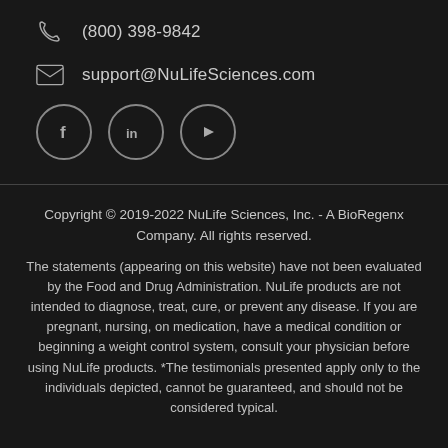(800) 398-9842
support@NuLifeSciences.com
[Figure (illustration): Three social media icons in circles: Facebook (f), LinkedIn (in), YouTube (play button)]
Copyright © 2019-2022 NuLife Sciences, Inc. - A BioRegenx Company. All rights reserved. The statements (appearing on this website) have not been evaluated by the Food and Drug Administration. NuLife products are not intended to diagnose, treat, cure, or prevent any disease. If you are pregnant, nursing, on medication, have a medical condition or beginning a weight control system, consult your physician before using NuLife products. *The testimonials presented apply only to the individuals depicted, cannot be guaranteed, and should not be considered typical.